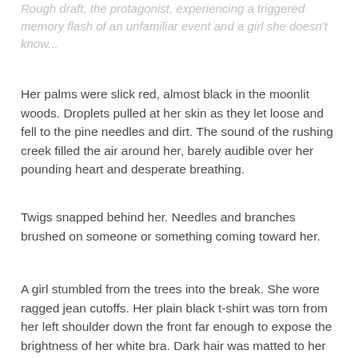Rough draft, the protagonist, experiencing a triggered memory flash of an unfamiliar event and a girl she doesn't know...
Her palms were slick red, almost black in the moonlit woods. Droplets pulled at her skin as they let loose and fell to the pine needles and dirt. The sound of the rushing creek filled the air around her, barely audible over her pounding heart and desperate breathing.
Twigs snapped behind her. Needles and branches brushed on someone or something coming toward her.
A girl stumbled from the trees into the break. She wore ragged jean cutoffs. Her plain black t-shirt was torn from her left shoulder down the front far enough to expose the brightness of her white bra. Dark hair was matted to her face. She dripped sweat as she panted. She bent forward resting her hands on her knees. She looked up